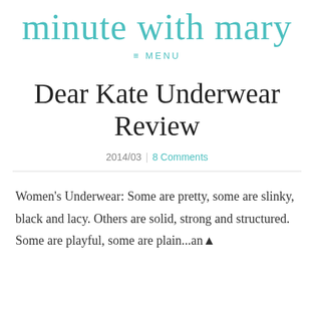minute with mary
≡ MENU
Dear Kate Underwear Review
2014/03 | 8 Comments
Women's Underwear: Some are pretty, some are slinky, black and lacy. Others are solid, strong and structured. Some are playful, some are plain...and